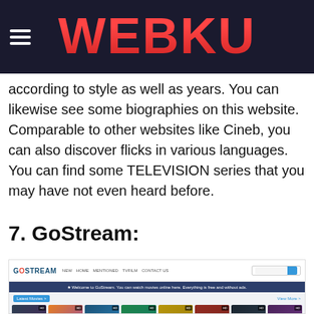WEBKU
according to style as well as years. You can likewise see some biographies on this website. Comparable to other websites like Cineb, you can also discover flicks in various languages. You can find some TELEVISION series that you may have not even heard before.
7. GoStream:
[Figure (screenshot): Screenshot of the GoStream website showing a dark navy header with logo, navigation menu, search bar, welcome banner, 'Latest Movies' button, and a grid of movie poster thumbnails.]